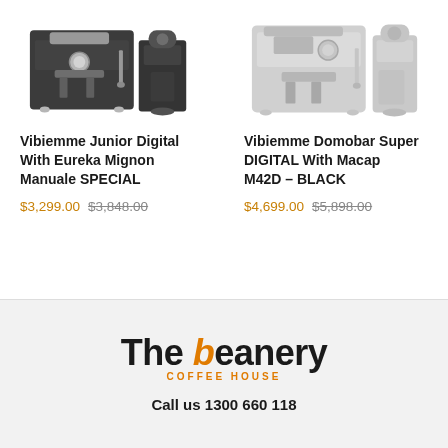[Figure (photo): Vibiemme Junior Digital espresso machine with Eureka Mignon Manuale grinder, black, product photo on white background]
Vibiemme Junior Digital With Eureka Mignon Manuale SPECIAL
$3,299.00 $3,848.00
[Figure (photo): Vibiemme Domobar Super DIGITAL espresso machine with Macap M42D grinder in black, product photo on light background]
Vibiemme Domobar Super DIGITAL With Macap M42D – BLACK
$4,699.00 $5,898.00
The beanery COFFEE HOUSE
Call us 1300 660 118